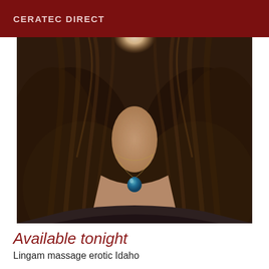CERATEC DIRECT
[Figure (photo): Close-up photo of a woman with long dark wavy hair wearing a blue teardrop gemstone pendant necklace, face not visible, neck and décolletage area shown]
Available tonight
Lingam massage erotic Idaho